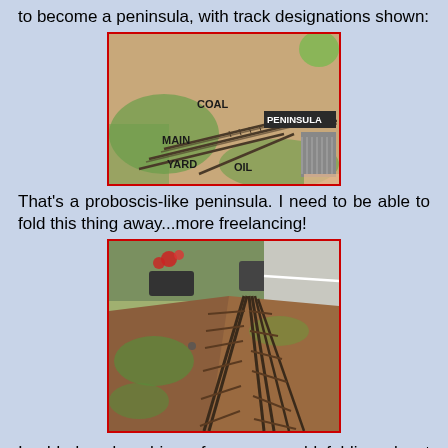to become a peninsula, with track designations shown:
[Figure (photo): Overhead view of a model railroad layout showing track designations: COAL, MAIN, YARD, OIL, PENINSULA]
That's a proboscis-like peninsula. I need to be able to fold this thing away...more freelancing!
[Figure (photo): Close-up photo of model railroad tracks on a wooden board, taken from a low angle outdoors]
I added a door hinge from some old folding closet doors, making that peninsula into a gone-insula. And, rather than